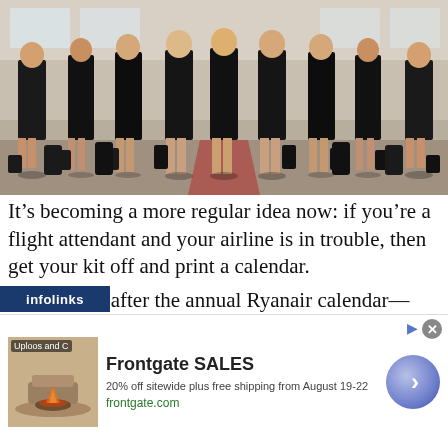[Figure (photo): Group of flight attendants in black uniforms with luggage on an airport tarmac]
It’s becoming a more regular idea now: if you’re a flight attendant and your airline is in trouble, then get your kit off and print a calendar.
    Weeks after the annual Ryanair calendar—which, this year, was more toned down compared to the 2010 edition—a group of former Mexicana Airlines attendantshas launched its 2011 calendar.
[Figure (screenshot): Frontgate SALES advertisement overlay: 20% off sitewide plus free shipping from August 19-22, frontgate.com]